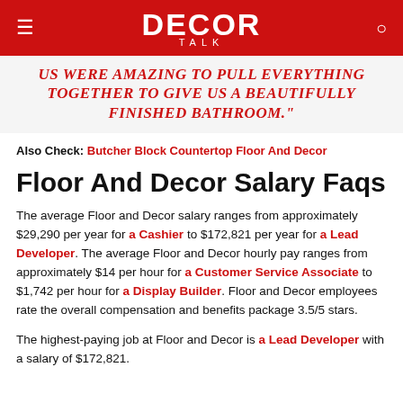DECOR TALK
US WERE AMAZING TO PULL EVERYTHING TOGETHER TO GIVE US A BEAUTIFULLY FINISHED BATHROOM."
Also Check: Butcher Block Countertop Floor And Decor
Floor And Decor Salary Faqs
The average Floor and Decor salary ranges from approximately $29,290 per year for a Cashier to $172,821 per year for a Lead Developer. The average Floor and Decor hourly pay ranges from approximately $14 per hour for a Customer Service Associate to $1,742 per hour for a Display Builder. Floor and Decor employees rate the overall compensation and benefits package 3.5/5 stars.
The highest-paying job at Floor and Decor is a Lead Developer with a salary of $172,821.